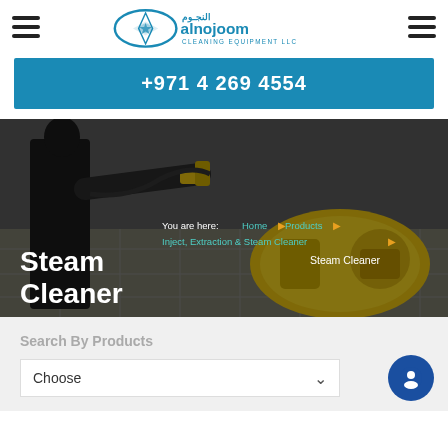[Figure (logo): Al Nojoom Cleaning Equipment LLC logo with Arabic text and teal diamond/star icon]
+971 4 269 4554
[Figure (photo): Person using yellow steam cleaner machine on tiled floor, dark overlay]
Steam Cleaner
You are here: Home ▶ Products ▶ Inject, Extraction & Steam Cleaner ▶ Steam Cleaner
Search By Products
Choose